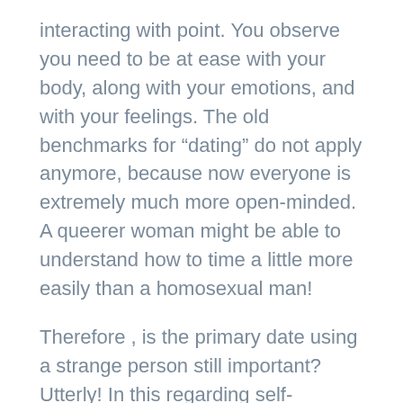interacting with point. You observe you need to be at ease with your body, along with your emotions, and with your feelings. The old benchmarks for “dating” do not apply anymore, because now everyone is extremely much more open-minded. A queerer woman might be able to understand how to time a little more easily than a homosexual man!
Therefore , is the primary date using a strange person still important? Utterly! In this regarding self-discovery and exploration, ways to date is no longer about staying afraid of your own body or of your personal feelings. Someone’s sexuality is just as important (if less important) than how they appear, or just how well they can cook.
One thing about the first particular date spot is the